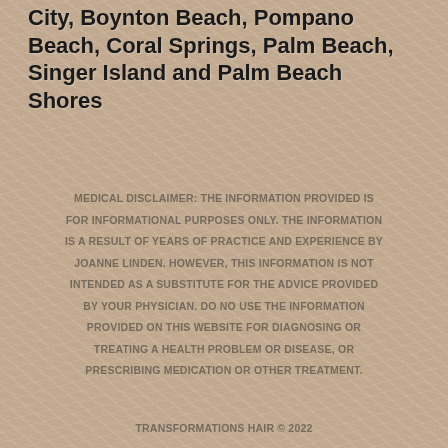City, Boynton Beach, Pompano Beach, Coral Springs, Palm Beach, Singer Island and Palm Beach Shores
MEDICAL DISCLAIMER: THE INFORMATION PROVIDED IS FOR INFORMATIONAL PURPOSES ONLY. THE INFORMATION IS A RESULT OF YEARS OF PRACTICE AND EXPERIENCE BY JOANNE LINDEN. HOWEVER, THIS INFORMATION IS NOT INTENDED AS A SUBSTITUTE FOR THE ADVICE PROVIDED BY YOUR PHYSICIAN. DO NO USE THE INFORMATION PROVIDED ON THIS WEBSITE FOR DIAGNOSING OR TREATING A HEALTH PROBLEM OR DISEASE, OR PRESCRIBING MEDICATION OR OTHER TREATMENT.
TRANSFORMATIONS HAIR © 2022